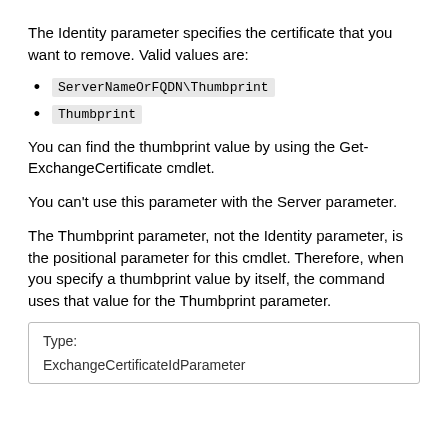The Identity parameter specifies the certificate that you want to remove. Valid values are:
ServerNameOrFQDN\Thumbprint
Thumbprint
You can find the thumbprint value by using the Get-ExchangeCertificate cmdlet.
You can't use this parameter with the Server parameter.
The Thumbprint parameter, not the Identity parameter, is the positional parameter for this cmdlet. Therefore, when you specify a thumbprint value by itself, the command uses that value for the Thumbprint parameter.
| Type: |  |
| --- | --- |
| ExchangeCertificateIdParameter |  |